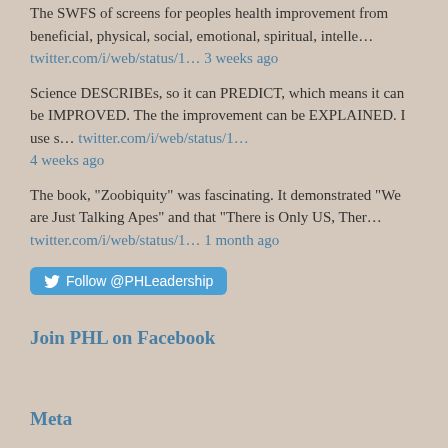The SWFS of screens for peoples health improvement from beneficial, physical, social, emotional, spiritual, intelle… twitter.com/i/web/status/1… 3 weeks ago
Science DESCRIBEs, so it can PREDICT, which means it can be IMPROVED. The the improvement can be EXPLAINED. I use s… twitter.com/i/web/status/1… 4 weeks ago
The book, "Zoobiquity" was fascinating. It demonstrated "We are Just Talking Apes" and that "There is Only US, Ther… twitter.com/i/web/status/1… 1 month ago
Follow @PHLeadership
Join PHL on Facebook
Meta